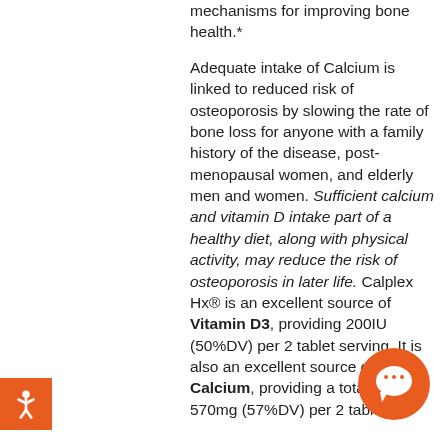mechanisms for improving bone health.*

Adequate intake of Calcium is linked to reduced risk of osteoporosis by slowing the rate of bone loss for anyone with a family history of the disease, post-menopausal women, and elderly men and women. Sufficient calcium and vitamin D intake part of a healthy diet, along with physical activity, may reduce the risk of osteoporosis in later life. Calplex Hx® is an excellent source of Vitamin D3, providing 200IU (50%DV) per 2 tablet serving. It is also an excellent source of Calcium, providing a total of 570mg (57%DV) per 2 tablet